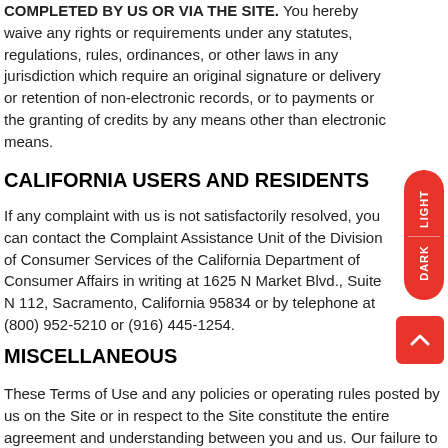COMPLETED BY US OR VIA THE SITE. You hereby waive any rights or requirements under any statutes, regulations, rules, ordinances, or other laws in any jurisdiction which require an original signature or delivery or retention of non-electronic records, or to payments or the granting of credits by any means other than electronic means.
CALIFORNIA USERS AND RESIDENTS
If any complaint with us is not satisfactorily resolved, you can contact the Complaint Assistance Unit of the Division of Consumer Services of the California Department of Consumer Affairs in writing at 1625 N Market Blvd., Suite N 112, Sacramento, California 95834 or by telephone at (800) 952-5210 or (916) 445-1254.
MISCELLANEOUS
These Terms of Use and any policies or operating rules posted by us on the Site or in respect to the Site constitute the entire agreement and understanding between you and us. Our failure to exercise or enforce